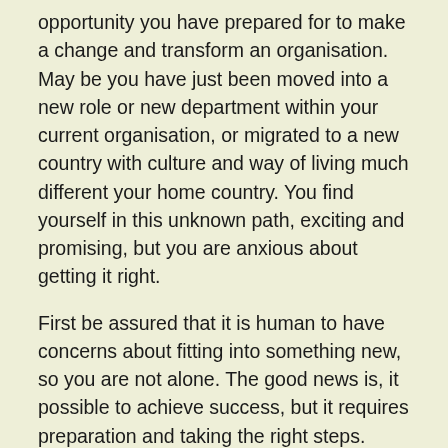opportunity you have prepared for to make a change and transform an organisation. May be you have just been moved into a new role or new department within your current organisation, or migrated to a new country with culture and way of living much different your home country. You find yourself in this unknown path, exciting and promising, but you are anxious about getting it right.
First be assured that it is human to have concerns about fitting into something new, so you are not alone. The good news is, it possible to achieve success, but it requires preparation and taking the right steps.
In this section, I will some useful strategies to help you overcome your concerns and navigate your new terrain. Mainly around workplace, but these